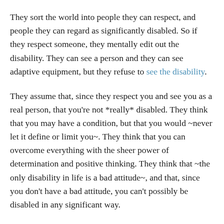because they're mentally editing out the disability.
They sort the world into people they can respect, and people they can regard as significantly disabled. So if they respect someone, they mentally edit out the disability. They can see a person and they can see adaptive equipment, but they refuse to see the disability.
They assume that, since they respect you and see you as a real person, that you're not *really* disabled. They think that you may have a condition, but that you would ~never let it define or limit you~. They think that you can overcome everything with the sheer power of determination and positive thinking. They think that ~the only disability in life is a bad attitude~, and that, since you don't have a bad attitude, you can't possibly be disabled in any significant way.
And in real life, disability always matters. As Stella Young said, "No amount of smiling at a flight of stairs has ever made it turn into a ramp. No amount of standing in the middle of a bookshelf and radiating a positive attitude is going to turn all those books into braille." There will be times when things